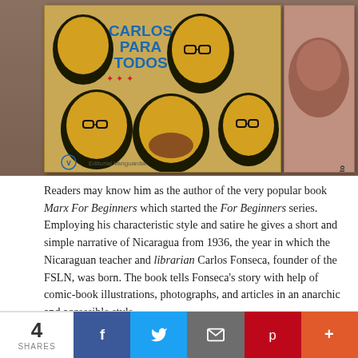[Figure (photo): Two book covers side by side on a wooden surface. Left: 'Carlos Para Todos' with illustrated faces of people in yellow/black on a tan background, published by Editorial Vanguardia. Right: 'Ideario Político de Agosto' with a brown-toned portrait photo on a pinkish cover.]
Readers may know him as the author of the very popular book Marx For Beginners which started the For Beginners series. Employing his characteristic style and satire he gives a short and simple narrative of Nicaragua from 1936, the year in which the Nicaraguan teacher and librarian Carlos Fonseca, founder of the FSLN, was born. The book tells Fonseca's story with help of comic-book illustrations, photographs, and articles in an anarchic and accessible style.
4 SHARES  [Facebook] [Twitter] [Email] [Pinterest] [More]